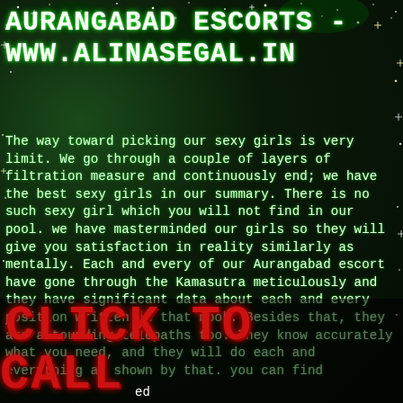AURANGABAD ESCORTS - WWW.ALINASEGAL.IN
The way toward picking our sexy girls is very limit. We go through a couple of layers of filtration measure and continuously end; we have the best sexy girls in our summary. There is no such sexy girl which you will not find in our pool. we have masterminded our girls so they will give you satisfaction in reality similarly as mentally. Each and every of our Aurangabad escort have gone through the Kamasutra meticulously and they have significant data about each and every position written in that book. Besides that, they are astounding telepaths too. They know accurately what you need, and they will do each and everything as shown by that. you can find
CLICK TO CALL ed